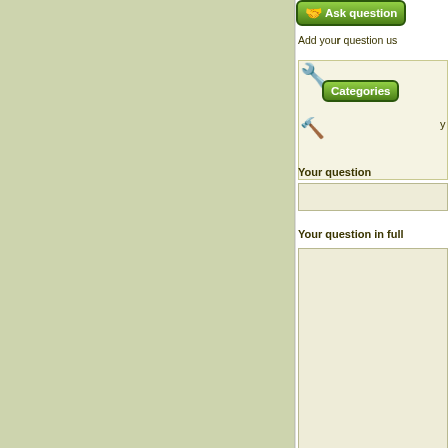[Figure (screenshot): Partial view of a question submission form with green Ask question button, Categories button with wrench icon, Your question input fields, Your name field, a Caution section, and a We use Cookies cookie consent banner. Left side has sage green background panel.]
Ask question
Add your question us
Categories
Your question
Your question in full
Your name
Caution!
Information posted by users s
We use Cookies.
See our Privacy Policy.